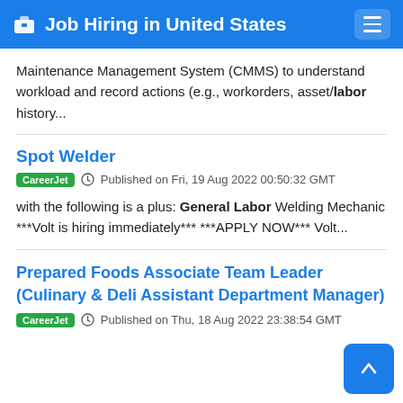Job Hiring in United States
Maintenance Management System (CMMS) to understand workload and record actions (e.g., workorders, asset/labor history...
Spot Welder
CareerJet  Published on Fri, 19 Aug 2022 00:50:32 GMT
with the following is a plus: General Labor Welding Mechanic ***Volt is hiring immediately*** ***APPLY NOW*** Volt...
Prepared Foods Associate Team Leader (Culinary & Deli Assistant Department Manager)
CareerJet  Published on Thu, 18 Aug 2022 23:38:54 GMT